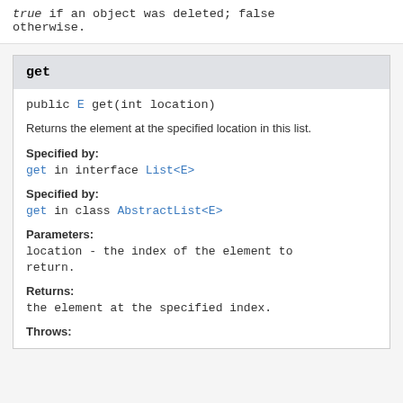true if an object was deleted; false otherwise.
get
public E get(int location)
Returns the element at the specified location in this list.
Specified by:
get in interface List<E>
Specified by:
get in class AbstractList<E>
Parameters:
location - the index of the element to return.
Returns:
the element at the specified index.
Throws: